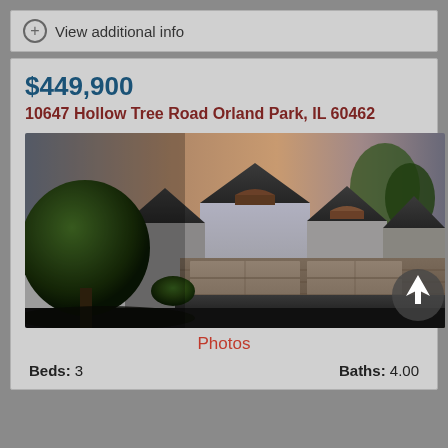View additional info
$449,900
10647 Hollow Tree Road Orland Park, IL 60462
[Figure (photo): Exterior photo of a brick house with dark roof gables, two-car garage, mature landscaping and trees, photographed at dusk with colorful sky]
Photos
Beds: 3    Baths: 4.00